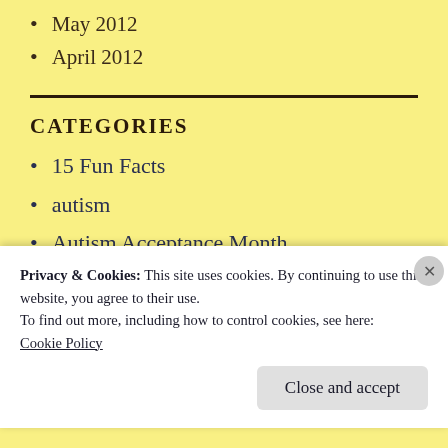May 2012
April 2012
CATEGORIES
15 Fun Facts
autism
Autism Acceptance Month
bookworm
Privacy & Cookies: This site uses cookies. By continuing to use this website, you agree to their use.
To find out more, including how to control cookies, see here:
Cookie Policy
Close and accept